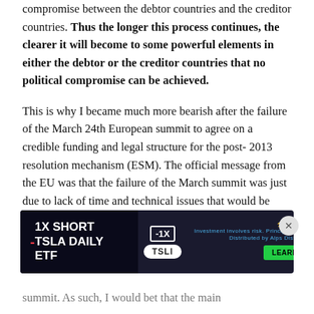compromise between the debtor countries and the creditor countries. Thus the longer this process continues, the clearer it will become to some powerful elements in either the debtor or the creditor countries that no political compromise can be achieved.
This is why I became much more bearish after the failure of the March 24th European summit to agree on a credible funding and legal structure for the post- 2013 resolution mechanism (ESM). The official message from the EU was that the failure of the March summit was just due to lack of time and technical issues that would be resolved at the late June summit. In my view however these "tech... daun... summit. As such, I would bet that the main
[Figure (infographic): Advertisement banner: -1X SHORT TSLA DAILY ETF with TSLI ticker, car image, GraniteShares logo, LEARN MORE button]